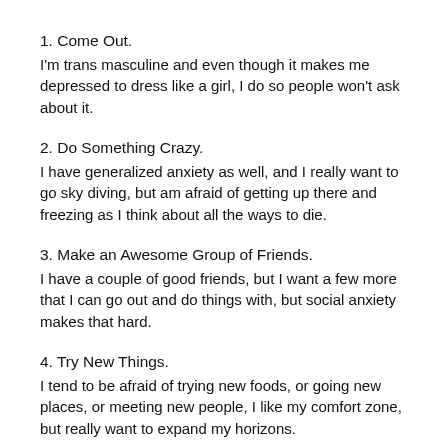1. Come Out.
I'm trans masculine and even though it makes me depressed to dress like a girl, I do so people won't ask about it.
2. Do Something Crazy.
I have generalized anxiety as well, and I really want to go sky diving, but am afraid of getting up there and freezing as I think about all the ways to die.
3. Make an Awesome Group of Friends.
I have a couple of good friends, but I want a few more that I can go out and do things with, but social anxiety makes that hard.
4. Try New Things.
I tend to be afraid of trying new foods, or going new places, or meeting new people, I like my comfort zone, but really want to expand my horizons.